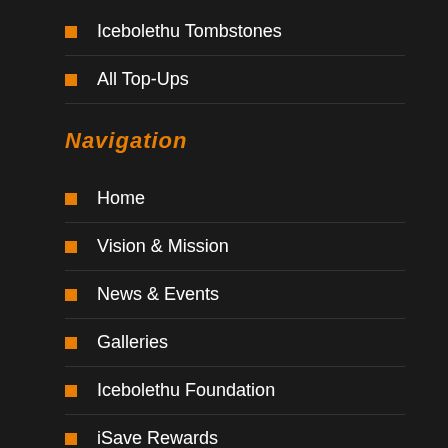Icebolethu Tombstones
All Top-Ups
Navigation
Home
Vision & Mission
News & Events
Galleries
Icebolethu Foundation
iSave Rewards
Payments
Contact Us